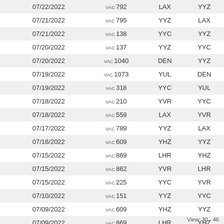| Date | Flight | Origin | Destination |
| --- | --- | --- | --- |
| 07/22/2022 | VAC 792 | LAX | YYZ |
| 07/21/2022 | VAC 795 | YYZ | LAX |
| 07/21/2022 | VAC 138 | YYC | YYZ |
| 07/20/2022 | VAC 137 | YYZ | YYC |
| 07/20/2022 | VAC 1040 | DEN | YYZ |
| 07/19/2022 | VAC 1073 | YUL | DEN |
| 07/19/2022 | VAC 318 | YYC | YUL |
| 07/18/2022 | VAC 210 | YVR | YYC |
| 07/18/2022 | VAC 559 | LAX | YVR |
| 07/17/2022 | VAC 789 | YYZ | LAX |
| 07/16/2022 | VAC 609 | YHZ | YYZ |
| 07/15/2022 | VAC 869 | LHR | YHZ |
| 07/15/2022 | VAC 862 | YVR | LHR |
| 07/15/2022 | VAC 225 | YYC | YVR |
| 07/10/2022 | VAC 151 | YYZ | YYC |
| 07/09/2022 | VAC 609 | YHZ | YYZ |
| 07/09/2022 | VAC 869 | LHR | YHZ |
View: 30 - 46